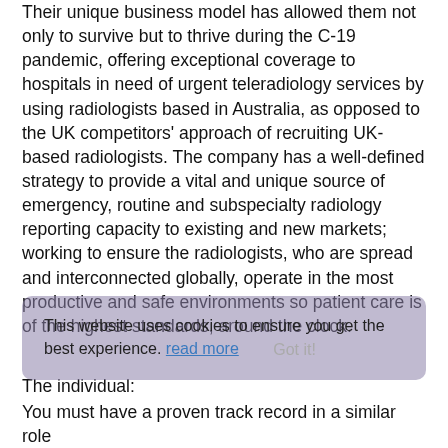Their unique business model has allowed them not only to survive but to thrive during the C-19 pandemic, offering exceptional coverage to hospitals in need of urgent teleradiology services by using radiologists based in Australia, as opposed to the UK competitors' approach of recruiting UK-based radiologists. The company has a well-defined strategy to provide a vital and unique source of emergency, routine and subspecialty radiology reporting capacity to existing and new markets; working to ensure the radiologists, who are spread and interconnected globally, operate in the most productive and safe environments so patient care is of the highest standards, around the clock.
This website uses cookies to ensure you get the best experience. read more
Got it!
The individual:
You must have a proven track record in a similar role